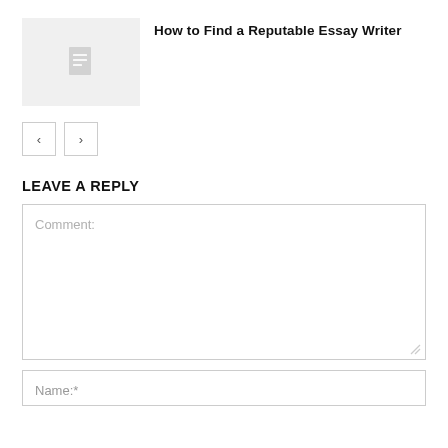[Figure (screenshot): Article thumbnail with document icon on light gray background]
How to Find a Reputable Essay Writer
[Figure (other): Navigation previous and next arrow buttons]
LEAVE A REPLY
Comment:
Name:*